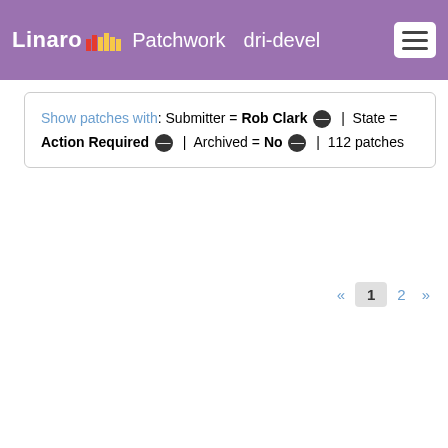Linaro Patchwork dri-devel
Show patches with: Submitter = Rob Clark ⊖ | State = Action Required ⊖ | Archived = No ⊖ | 112 patches
| Patch | Series | S/W/F ▲ | Da |
| --- | --- | --- | --- |
| [pull] drm/msm: msm-next for 4.10 | --- |  | 2016 |
| [4/4] drm/tilcdc: add support for LCD panels (v5) | --- |  | 2013 |
| [3/4] drm/tilcdc: add encoder slave | --- |  | 2013 |
| [2/4] drm/i2c: nxp-tda998x (v2) | --- |  | 2013 |
| [4/4] RFC: drm/lcdc: add encoder slave | --- |  | 2013 |
| [3/4] RFC: drm/i2c: nxp-tda998x | --- |  | 2013 |
| [2/4] RFC: drm/lcdc: add support for LCD panels (v2) | --- |  | 2013 |
| [1/4] RFC: drm/lcdc: add TI LCD Controller DRM | --- |  | 2013 |